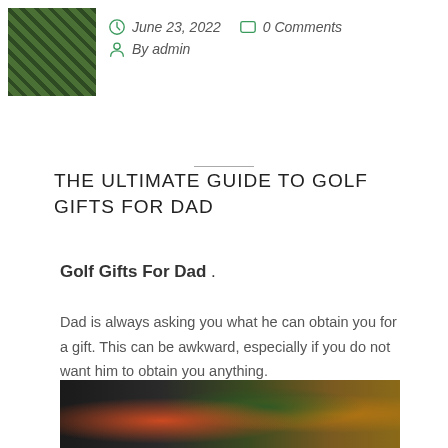[Figure (photo): Small green golf grass thumbnail image in top left corner]
June 23, 2022   0 Comments
By admin
THE ULTIMATE GUIDE TO GOLF GIFTS FOR DAD
Golf Gifts For Dad .
Dad is always asking you what he can obtain you for a gift. This can be awkward, especially if you do not want him to obtain you anything.
[Figure (photo): Bottom portion of a photo showing colorful golf-related items including hats and equipment in green, orange, and yellow tones]